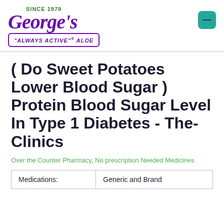[Figure (logo): George's Always Active Aloe logo with 'SINCE 1979' text in green, cursive purple George's text, and 'ALWAYS ACTIVE® ALOE' in a purple bordered box]
( Do Sweet Potatoes Lower Blood Sugar ) Protein Blood Sugar Level In Type 1 Diabetes - The-Clinics
Over the Counter Pharmacy, No prescription Needed Medicines
| Medications: | Generic and Brand |
| --- | --- |